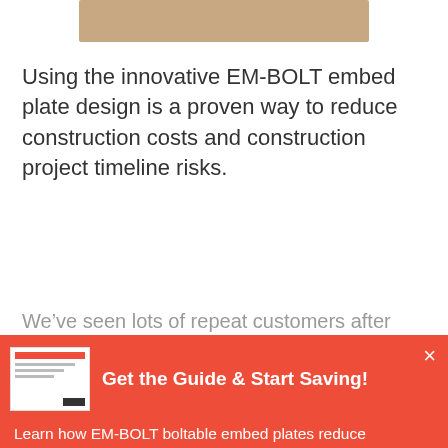[Figure (photo): Partial view of a beige/tan colored embed plate or product image at the top of the page]
Using the innovative EM-BOLT embed plate design is a proven way to reduce construction costs and construction project timeline risks.
We’ve seen lots of repeat customers after they’ve
[Figure (screenshot): Red popup/modal overlay with a thumbnail image of a guide document, title 'Get the Guide & Start Saving!', descriptive text about EM-BOLT boltable embed plates, and a white 'Download Now!' button]
Get the Guide & Start Saving!
Learn how EM-BOLT boltable embed plates reduce construction costs & timeline risks, while improving structural performance and energy efficiency.
Download Now!